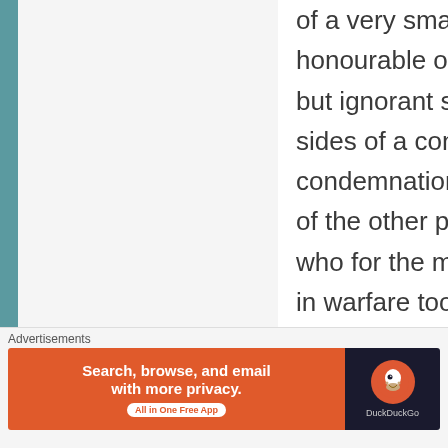of a very small percentage of honourable or good hearted but ignorant soldiers on all sides of a conflict and the condemnation of (the majority) of the other participants in war who for the most part engage in warfare too readily as a means of livelihood (i.e. a 9 to 5 career), through ignorance and nationalist / racist /
Advertisements
[Figure (infographic): DuckDuckGo advertisement banner: orange section with text 'Search, browse, and email with more privacy. All in One Free App' and dark section with DuckDuckGo logo]